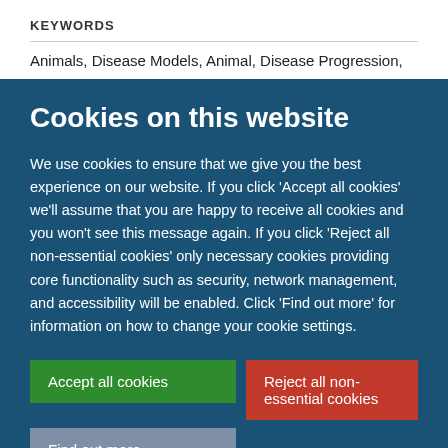KEYWORDS
Animals, Disease Models, Animal, Disease Progression,
Cookies on this website
We use cookies to ensure that we give you the best experience on our website. If you click 'Accept all cookies' we'll assume that you are happy to receive all cookies and you won't see this message again. If you click 'Reject all non-essential cookies' only necessary cookies providing core functionality such as security, network management, and accessibility will be enabled. Click 'Find out more' for information on how to change your cookie settings.
Accept all cookies
Reject all non-essential cookies
Find out more